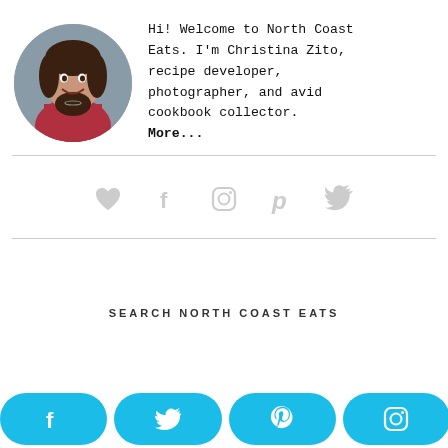[Figure (photo): Circular portrait photo of Christina Zito, a woman with curly dark hair, smiling, wearing a red plaid shirt, with a gray background.]
Hi! Welcome to North Coast Eats. I'm Christina Zito, recipe developer, photographer, and avid cookbook collector. More...
[Figure (infographic): Row of five light gray social media icons: heart, Facebook f, Instagram, Pinterest p, Twitter bird.]
SEARCH NORTH COAST EATS
[Figure (infographic): Row of four cyan/blue rounded pill buttons with white social media icons: Facebook f, Twitter bird, Pinterest p, Instagram camera.]